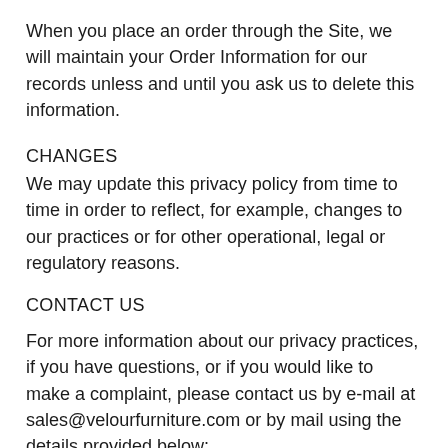When you place an order through the Site, we will maintain your Order Information for our records unless and until you ask us to delete this information.
CHANGES
We may update this privacy policy from time to time in order to reflect, for example, changes to our practices or for other operational, legal or regulatory reasons.
CONTACT US
For more information about our privacy practices, if you have questions, or if you would like to make a complaint, please contact us by e-mail at sales@velourfurniture.com or by mail using the details provided below:
708 Allerton Avenue, Bronx, NY, 10467, United States